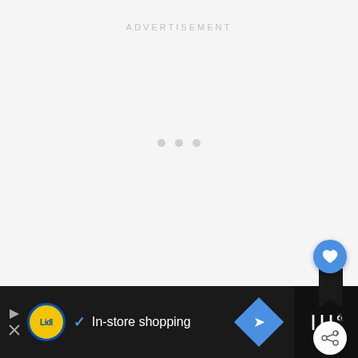[Figure (screenshot): Advertisement placeholder area with grey background, 'ADVERTISEMENT' label at top center, three loading dots in center]
[Figure (screenshot): Floating action buttons: blue heart/like button with bookmark icon below, count '1', and share button]
[Figure (screenshot): Bottom dark banner ad for Lidl showing 'In-store shopping' with Lidl logo, checkmark, navigation diamond icon, and Tally app icon on right]